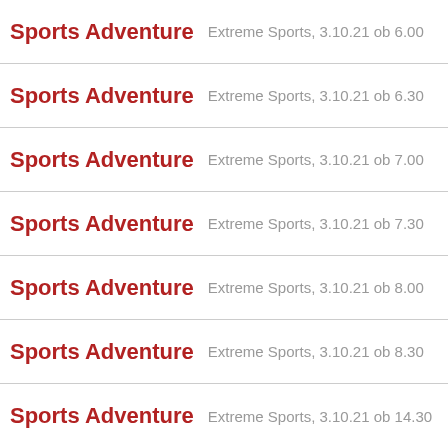Sports Adventure  Extreme Sports, 3.10.21 ob 6.00
Sports Adventure  Extreme Sports, 3.10.21 ob 6.30
Sports Adventure  Extreme Sports, 3.10.21 ob 7.00
Sports Adventure  Extreme Sports, 3.10.21 ob 7.30
Sports Adventure  Extreme Sports, 3.10.21 ob 8.00
Sports Adventure  Extreme Sports, 3.10.21 ob 8.30
Sports Adventure  Extreme Sports, 3.10.21 ob 14.30